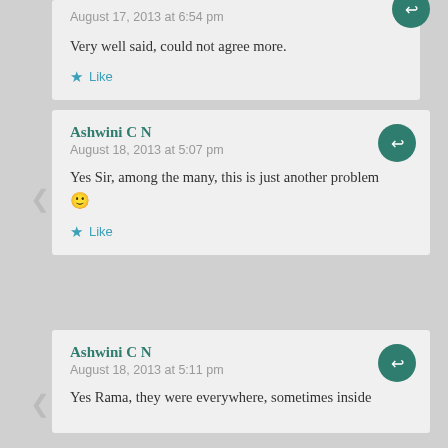August 17, 2013 at 6:54 pm
Very well said, could not agree more.
Like
Ashwini C N
August 18, 2013 at 5:07 pm
Yes Sir, among the many, this is just another problem 🙂
Like
Ashwini C N
August 18, 2013 at 5:11 pm
Yes Rama, they were everywhere, sometimes inside